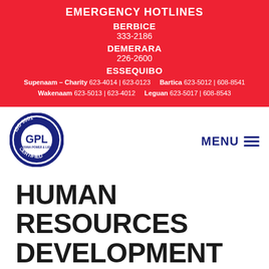EMERGENCY HOTLINES
BERBICE
333-2186
DEMERARA
226-2600
ESSEQUIBO
Supenaam – Charity 623-4014 | 623-0123   Bartica 623-5012 | 608-8541
Wakenaam 623-5013 | 623-4012   Leguan 623-5017 | 608-8543
[Figure (logo): GPL ISO 9001 Certified circular logo with GPL text in center]
HUMAN RESOURCES DEVELOPMENT MANAGER